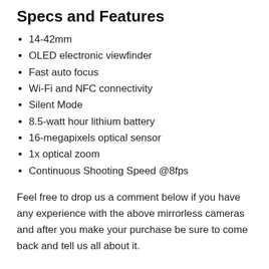Specs and Features
14-42mm
OLED electronic viewfinder
Fast auto focus
Wi-Fi and NFC connectivity
Silent Mode
8.5-watt hour lithium battery
16-megapixels optical sensor
1x optical zoom
Continuous Shooting Speed @8fps
Feel free to drop us a comment below if you have any experience with the above mirrorless cameras and after you make your purchase be sure to come back and tell us all about it.